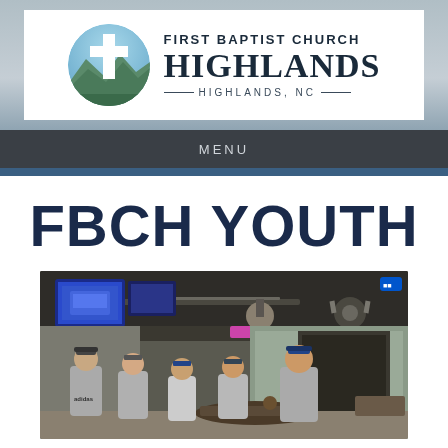[Figure (logo): First Baptist Church Highlands logo with circular mountain/cross emblem and church name text]
MENU
FBCH YOUTH
[Figure (photo): Group of five young men standing/sitting around a table in an indoor entertainment venue with TV screens and industrial ceiling]